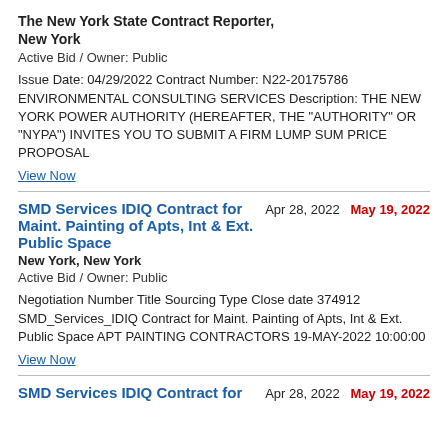The New York State Contract Reporter, New York
Active Bid / Owner: Public
Issue Date: 04/29/2022 Contract Number: N22-20175786 ENVIRONMENTAL CONSULTING SERVICES Description: THE NEW YORK POWER AUTHORITY (HEREAFTER, THE "AUTHORITY" OR "NYPA") INVITES YOU TO SUBMIT A FIRM LUMP SUM PRICE PROPOSAL
View Now
SMD Services IDIQ Contract for Maint. Painting of Apts, Int & Ext. Public Space
Apr 28, 2022   May 19, 2022
New York, New York
Active Bid / Owner: Public
Negotiation Number Title Sourcing Type Close date 374912 SMD_Services_IDIQ Contract for Maint. Painting of Apts, Int & Ext. Public Space APT PAINTING CONTRACTORS 19-MAY-2022 10:00:00
View Now
SMD Services IDIQ Contract for
Apr 28, 2022   May 19, 2022